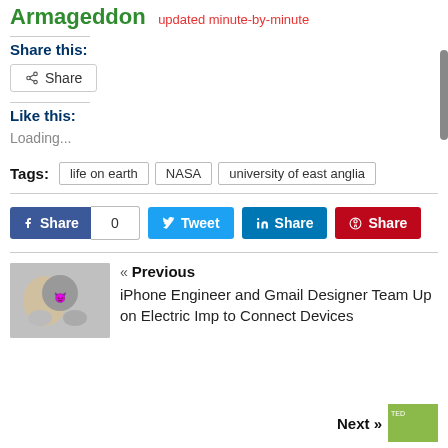Armageddon updated minute-by-minute
Share this:
Share (button)
Like this:
Loading...
Tags: life on earth  NASA  university of east anglia
f Share  0   Tweet   in Share   Share
« Previous  iPhone Engineer and Gmail Designer Team Up on Electric Imp to Connect Devices
Next »